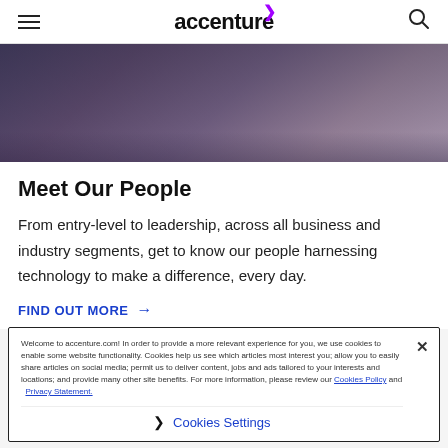accenture
[Figure (photo): Close-up photo of a person wearing a jacket and backpack, looking up, urban building in background with purple tinted overlay]
Meet Our People
From entry-level to leadership, across all business and industry segments, get to know our people harnessing technology to make a difference, every day.
FIND OUT MORE →
Welcome to accenture.com! In order to provide a more relevant experience for you, we use cookies to enable some website functionality. Cookies help us see which articles most interest you; allow you to easily share articles on social media; permit us to deliver content, jobs and ads tailored to your interests and locations; and provide many other site benefits. For more information, please review our Cookies Policy and Privacy Statement.
❯ Cookies Settings